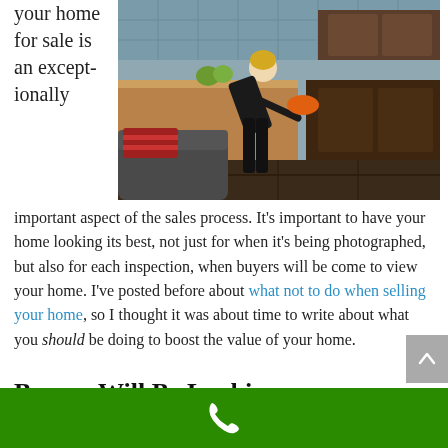your home for sale is an exceptionally
[Figure (photo): A person dressed in black leaning over a kitchen counter/oven in a modern kitchen with dark wood cabinets and a blue tile backsplash.]
important aspect of the sales process. It's important to have your home looking its best, not just for when it's being photographed, but also for each inspection, when buyers will be come to view your home. I've posted before about what not to do when selling your home, so I thought it was about time to write about what you should be doing to boost the value of your home.
Buyers Will Be Looking